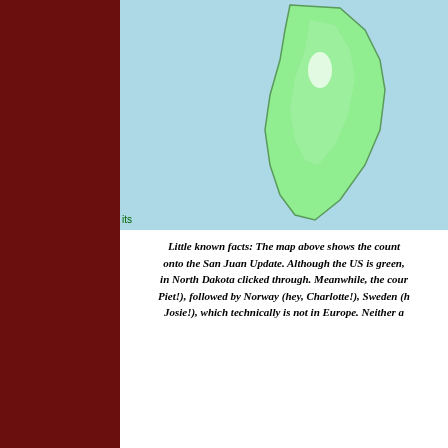[Figure (map): World map showing South America continent in green against light blue ocean background, partially cropped. A small label 'its' appears at bottom left.]
Little known facts: The map above shows the count onto the San Juan Update. Although the US is green, in North Dakota clicked through. Meanwhile, the cour Piet!), followed by Norway (hey, Charlotte!), Sweden (h Josie!), which technically is not in Europe. Neither a
Click here for last
The information here is simply stuff we here at By Design think is important around Friday Harbor or on San Juan Island.
Some of it is news, some of it is old news, and all are just things we wanted to mention, with most of it about the things that make living here great.